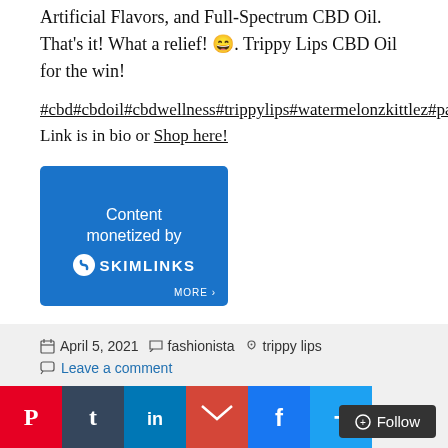Artificial Flavors, and Full-Spectrum CBD Oil. That's it! What a relief! 😄. Trippy Lips CBD Oil for the win!
#cbd#cbdoil#cbdwellness#trippylips#watermelonzkittlez#painrelief#naturalpainrelief#skincare Link is in bio or Shop here!
[Figure (infographic): Blue Skimlinks content monetization badge with logo and MORE button]
[Figure (infographic): Social sharing bar with Tweet, Pinterest Save, Tumblr, LinkedIn, Gmail, Facebook, and More buttons]
April 5, 2021  fashionista  trippy lips  Leave a comment
[Figure (infographic): Footer social share icons: Pinterest, Tumblr, LinkedIn, Gmail, Facebook, More, and Follow button]